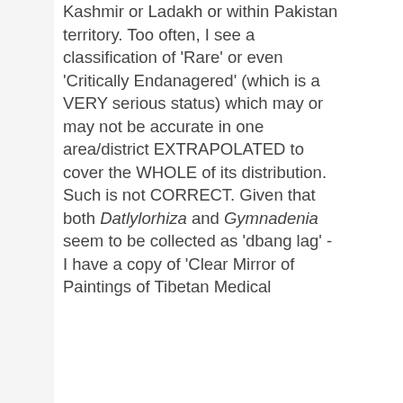Kashmir or Ladakh or within Pakistan territory. Too often, I see a classification of 'Rare' or even 'Critically Endanagered' (which is a VERY serious status) which may or may not be accurate in one area/district EXTRAPOLATED to cover the WHOLE of its distribution. Such is not CORRECT. Given that both Datlylorhiza and Gymnadenia seem to be collected as 'dbang lag' - I have a copy of 'Clear Mirror of Paintings of Tibetan Medical